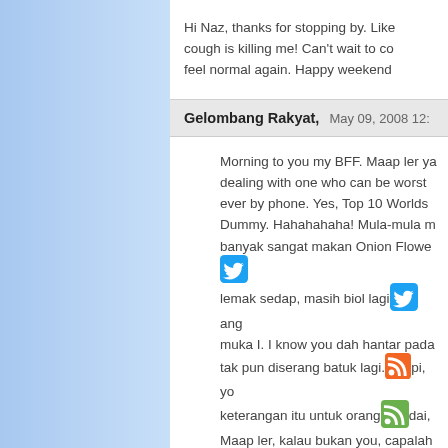Hi Naz, thanks for stopping by. Like cough is killing me! Can't wait to co feel normal again. Happy weekend
Gelombang Rakyat,   May 09, 2008 12:
Morning to you my BFF. Maap ler ya dealing with one who can be worst ever by phone. Yes, Top 10 Worlds Dummy. Hahahahaha! Mula-mula m banyak sangat makan Onion Flowe lemak sedap, masih biol lagi ang muka I. I know you dah hantar pada tak pun diserang batuk lagi. pi, yo keterangan itu untuk orang dai, Maap ler, kalau bukan you, capalah kans? Thank you in advance Sem berkat untuk kesihatan you yang na